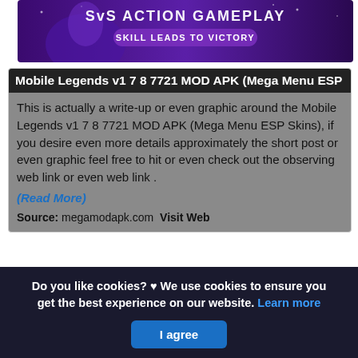[Figure (screenshot): Mobile Legends game banner with purple/blue background showing a character and text 'SvS ACTION GAMEPLAY - SKILL LEADS TO VICTORY']
Mobile Legends v1 7 8 7721 MOD APK (Mega Menu ESP
This is actually a write-up or even graphic around the Mobile Legends v1 7 8 7721 MOD APK (Mega Menu ESP Skins), if you desire even more details approximately the short post or even graphic feel free to hit or even check out the observing web link or even web link .
(Read More)
Source: megamodapk.com Visit Web
Do you like cookies? ♥ We use cookies to ensure you get the best experience on our website. Learn more
I agree